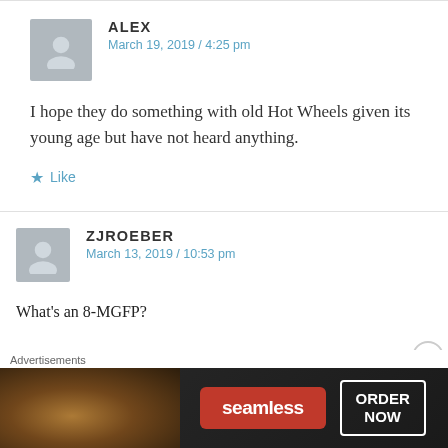ALEX
March 19, 2019 / 4:25 pm
I hope they do something with old Hot Wheels given its young age but have not heard anything.
Like
ZJROEBER
March 13, 2019 / 10:53 pm
What's an 8-MGFP?
[Figure (other): Seamless food ordering advertisement banner with pizza image, seamless logo button, and ORDER NOW button]
Advertisements